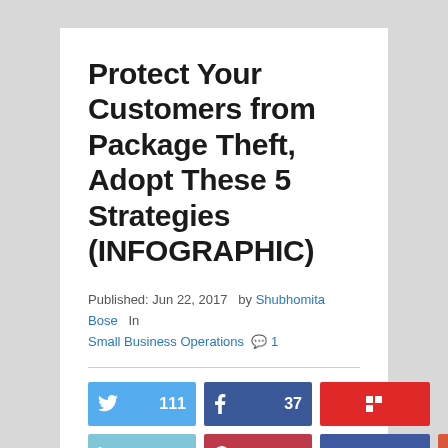Protect Your Customers from Package Theft, Adopt These 5 Strategies (INFOGRAPHIC)
Published: Jun 22, 2017   by Shubhomita Bose   In Small Business Operations   💬 1
[Figure (infographic): Social sharing buttons row 1: Twitter 111, Facebook 37, Flipboard (no count). Row 2: LinkedIn 22, Pinterest 2, Pocket (no count), Email (no count).]